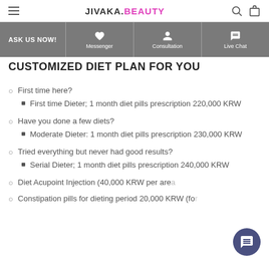JIVAKA.BEAUTY
CUSTOMIZED DIET PLAN FOR YOU
First time here?
First time Dieter; 1 month diet pills prescription 220,000 KRW
Have you done a few diets?
Moderate Dieter: 1 month diet pills prescription 230,000 KRW
Tried everything but never had good results?
Serial Dieter; 1 month diet pills prescription 240,000 KRW
Diet Acupoint Injection (40,000 KRW per area
Constipation pills for dieting period 20,000 KRW (for